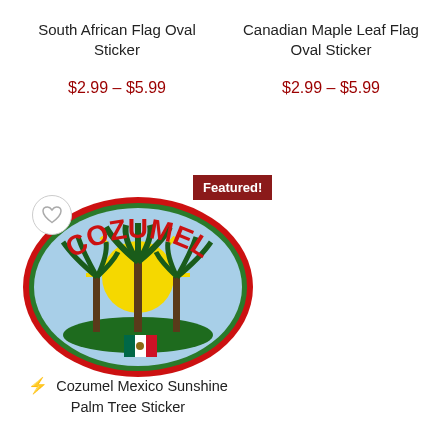South African Flag Oval Sticker
$2.99 – $5.99
Canadian Maple Leaf Flag Oval Sticker
$2.99 – $5.99
[Figure (illustration): Oval sticker with 'COZUMEL' text in red arched letters on a light blue background with green palm trees, yellow sun, and a small Mexican flag at the bottom, with a red and green oval border. Featured! badge shown above.]
⚡ Cozumel Mexico Sunshine Palm Tree Sticker